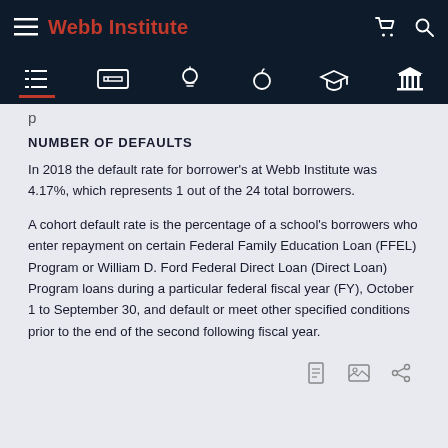Webb Institute
NUMBER OF DEFAULTS
In 2018 the default rate for borrower's at Webb Institute was 4.17%, which represents 1 out of the 24 total borrowers.
A cohort default rate is the percentage of a school's borrowers who enter repayment on certain Federal Family Education Loan (FFEL) Program or William D. Ford Federal Direct Loan (Direct Loan) Program loans during a particular federal fiscal year (FY), October 1 to September 30, and default or meet other specified conditions prior to the end of the second following fiscal year.